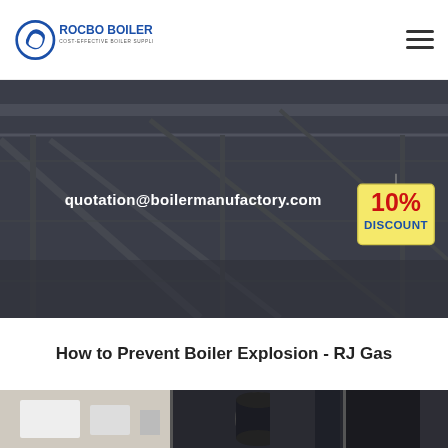[Figure (logo): Rocbo Boiler logo with circular icon and text 'ROCBO BOILER / COST-EFFECTIVE BOILER SUPPLIER']
[Figure (photo): Dark industrial banner background with 'quotation@boilermanufactory.com' in white bold text and a '10% DISCOUNT' badge hanging on the right side]
How to Prevent Boiler Explosion - RJ Gas
[Figure (photo): Bottom strip showing industrial boiler equipment images]